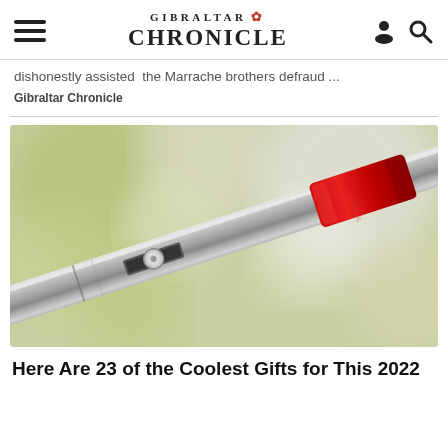GIBRALTAR CHRONICLE
dishonestly assisted the Marrache brothers defraud ...
Gibraltar Chronicle
[Figure (photo): Close-up photo of a metallic pen or stylus with a red cap/tip, against a blurred green and white bokeh background.]
Here Are 23 of the Coolest Gifts for This 2022